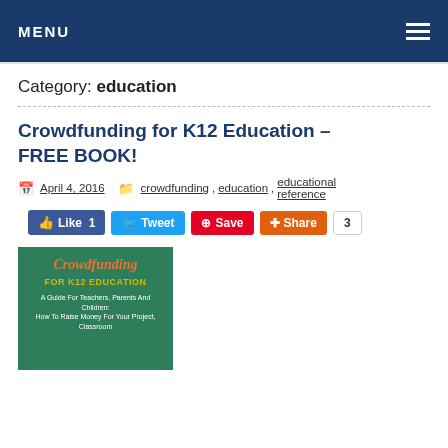MENU
Category: education
Crowdfunding for K12 Education – FREE BOOK!
April 4, 2016  crowdfunding, education, educational reference
[Figure (screenshot): Social sharing buttons: Like 1 (Facebook), Tweet (Twitter), Save (Pinterest), Share (Google+) with count 3]
[Figure (photo): Book cover: Crowdfunding FOR K12 EDUCATION – A Guide For Teachers, Parents And Children: How To Raise Money For Your Project, Classroom, green background with orange and yellow text]